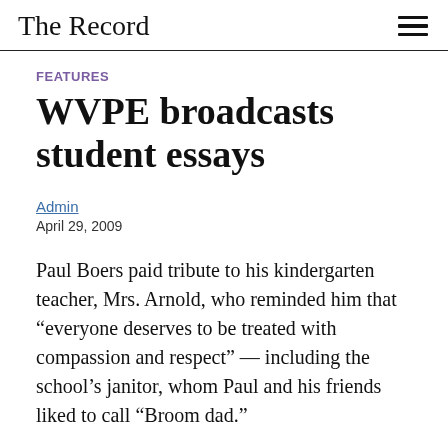The Record
FEATURES
WVPE broadcasts student essays
Admin
April 29, 2009
Paul Boers paid tribute to his kindergarten teacher, Mrs. Arnold, who reminded him that “everyone deserves to be treated with compassion and respect” — including the school’s janitor, whom Paul and his friends liked to call “Broom dad.”